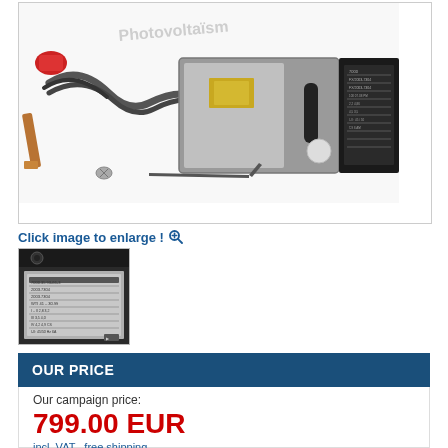[Figure (photo): Welding machine / spot welder shown with cables, copper electrode tip, hex key, and accessories on white background. Watermark text visible on image.]
Click image to enlarge !
[Figure (photo): Thumbnail image showing close-up of the welding machine's specification label / data plate attached to the unit.]
OUR PRICE
Our campaign price:
799.00 EUR
incl. VAT  free shipping